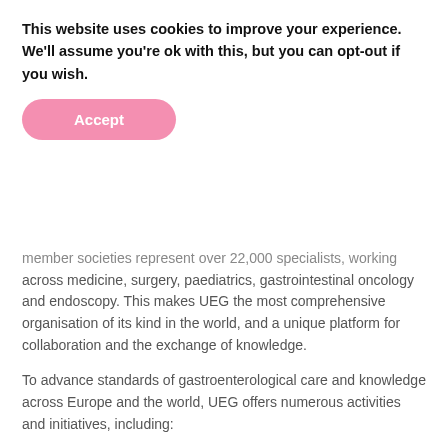This website uses cookies to improve your experience. We'll assume you're ok with this, but you can opt-out if you wish.
Accept
member societies represent over 22,000 specialists, working across medicine, surgery, paediatrics, gastrointestinal oncology and endoscopy. This makes UEG the most comprehensive organisation of its kind in the world, and a unique platform for collaboration and the exchange of knowledge.
To advance standards of gastroenterological care and knowledge across Europe and the world, UEG offers numerous activities and initiatives, including:
UEG Week, the biggest congress of its kind in Europe, and one of the two largest in the world. MEDIA REGISTRATION NOW OPEN